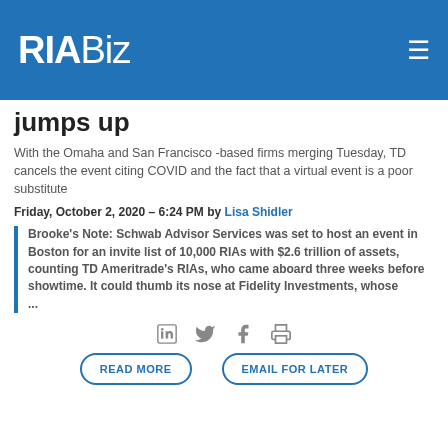RIABiz
jumps up
With the Omaha and San Francisco -based firms merging Tuesday, TD cancels the event citing COVID and the fact that a virtual event is a poor substitute
Friday, October 2, 2020 – 6:24 PM by Lisa Shidler
Brooke's Note: Schwab Advisor Services was set to host an event in Boston for an invite list of 10,000 RIAs with $2.6 trillion of assets, counting TD Ameritrade's RIAs, who came aboard three weeks before showtime. It could thumb its nose at Fidelity Investments, whose ...
[Figure (other): Social share icons: LinkedIn, Twitter, Facebook, Print]
READ MORE | EMAIL FOR LATER